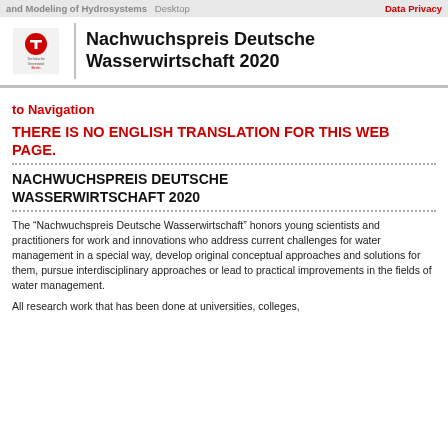and Modeling of Hydrosystems   Desktop   Data Privacy
Nachwuchspreis Deutsche Wasserwirtschaft 2020
to Navigation
THERE IS NO ENGLISH TRANSLATION FOR THIS WEB PAGE.
NACHWUCHSPREIS DEUTSCHE WASSERWIRTSCHAFT 2020
The “Nachwuchspreis Deutsche Wasserwirtschaft” honors young scientists and practitioners for work and innovations who address current challenges for water management in a special way, develop original conceptual approaches and solutions for them, pursue interdisciplinary approaches or lead to practical improvements in the fields of water management.
All research work that has been done at universities, colleges,